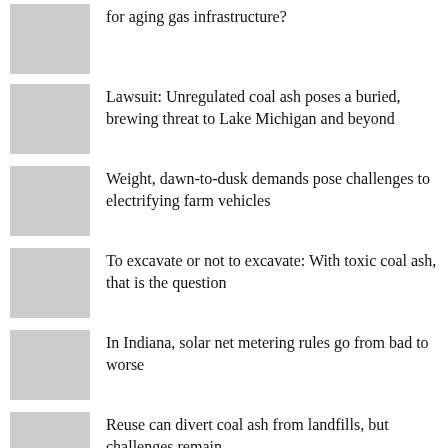for aging gas infrastructure?
Lawsuit: Unregulated coal ash poses a buried, brewing threat to Lake Michigan and beyond
Weight, dawn-to-dusk demands pose challenges to electrifying farm vehicles
To excavate or not to excavate: With toxic coal ash, that is the question
In Indiana, solar net metering rules go from bad to worse
Reuse can divert coal ash from landfills, but challenges remain
In Maine, heat pumps are proving themselves even against extreme cold
After legal win, Lake Erie offshore wind project backers look to reboot progress